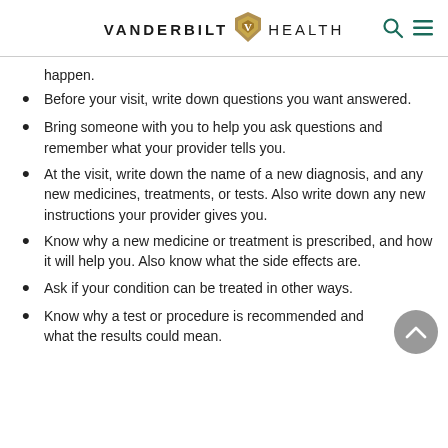VANDERBILT HEALTH
happen.
Before your visit, write down questions you want answered.
Bring someone with you to help you ask questions and remember what your provider tells you.
At the visit, write down the name of a new diagnosis, and any new medicines, treatments, or tests. Also write down any new instructions your provider gives you.
Know why a new medicine or treatment is prescribed, and how it will help you. Also know what the side effects are.
Ask if your condition can be treated in other ways.
Know why a test or procedure is recommended and what the results could mean.